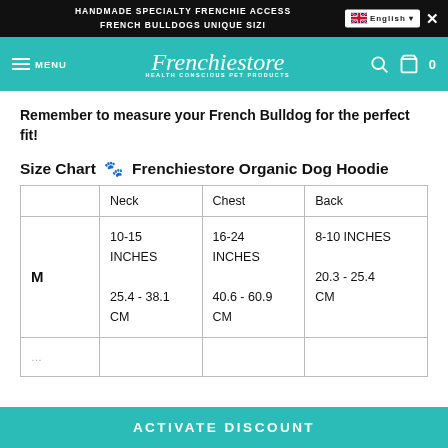HANDMADE SPECIALTY FRENCHIE ACCESS FRENCH BULLDOGS UNIQUE SIZI
[Figure (screenshot): Frenchiestore website navigation bar with teal background, logo, hamburger menu, search and cart icons]
Remember to measure your French Bulldog for the perfect fit!
Size Chart 🐾 Frenchiestore Organic Dog Hoodie
|  | Neck | Chest | Back |
| --- | --- | --- | --- |
| M | 10-15 INCHES
25.4 - 38.1 CM | 16-24 INCHES
40.6 - 60.9 CM | 8-10 INCHES
20.3 - 25.4 CM |
ACTIVATE DISCOUNT